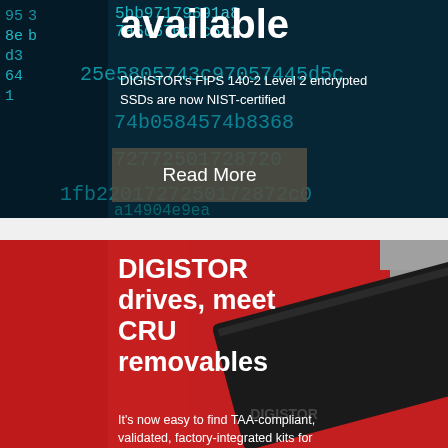available
DIGISTOR's FIPS 140-2 Level 2 encrypted SSDs are now NIST-certified
Read More
[Figure (photo): Dark blue/teal background with hexadecimal code characters displayed in cyan/teal color, representing encryption or cybersecurity theme]
DIGISTOR drives, meet CRU removables
It's now easy to find TAA-compliant, validated, factory-integrated kits for
[Figure (photo): Red background with a black SSD drive (DIGISTOR branded) shown at an angle with gray accent strip]